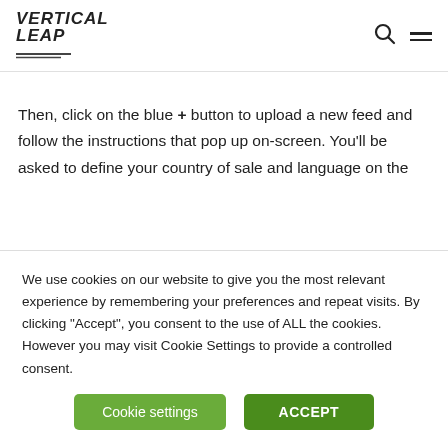VERTICAL LEAP
Then, click on the blue + button to upload a new feed and follow the instructions that pop up on-screen. You'll be asked to define your country of sale and language on the
We use cookies on our website to give you the most relevant experience by remembering your preferences and repeat visits. By clicking “Accept”, you consent to the use of ALL the cookies. However you may visit Cookie Settings to provide a controlled consent.